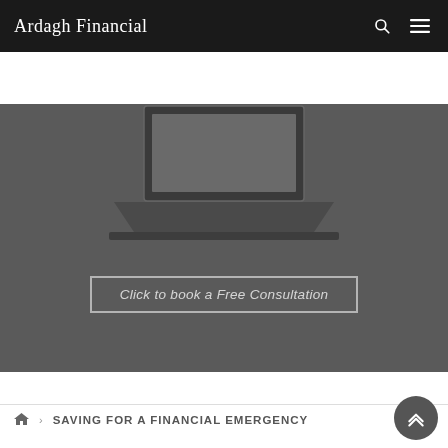Ardagh Financial
[Figure (screenshot): Dark grey hero section with a partially visible laptop graphic at the top and a 'Click to book a Free Consultation' button in the center]
Click to book a Free Consultation
SAVING FOR A FINANCIAL EMERGENCY